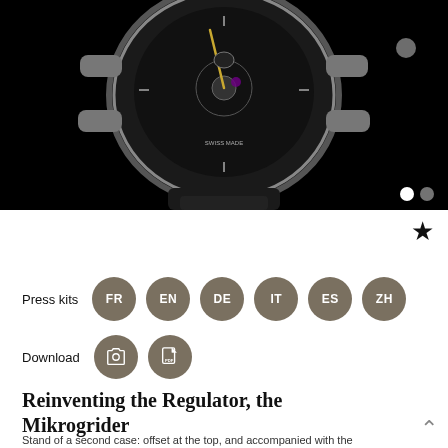[Figure (photo): Close-up photograph of a luxury TAG Heuer watch with a black dial and rubber strap, on a dark background]
Press kits  FR  EN  DE  IT  ES  ZH
Download
Reinventing the Regulator, the Mikrogrider
Stand of a second case: offset at the top, and accompanied with the...